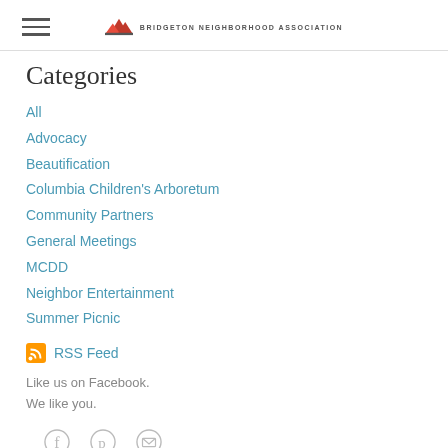BRIDGETON NEIGHBORHOOD ASSOCIATION
Categories
All
Advocacy
Beautification
Columbia Children's Arboretum
Community Partners
General Meetings
MCDD
Neighbor Entertainment
Summer Picnic
RSS Feed
Like us on Facebook.
We like you.
[Figure (illustration): Social media icons: Facebook, Pinterest, Email]